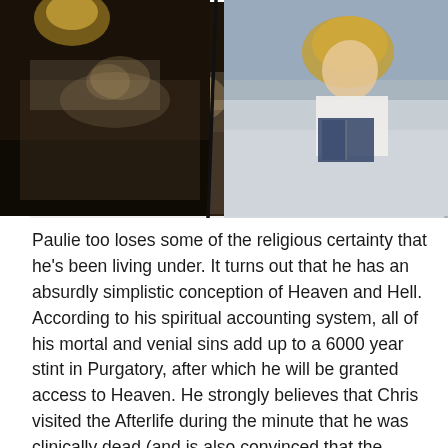[Figure (photo): Two side-by-side film stills. Left: a person lying in bed in a dimly lit room. Right: a woman with blonde hair sitting in bed reading a book, wearing a white top.]
Paulie too loses some of the religious certainty that he's been living under.  It turns out that he has an absurdly simplistic conception of Heaven and Hell.  According to his spiritual accounting system, all of his mortal and venial sins add up to a 6000 year stint in Purgatory, after which he will be granted access to Heaven.  He strongly believes that Chris visited the Afterlife during the minute that he was clinically dead (and is also convinced that the “3:00” that his victim Mikey Palmice utters in Chris’ dream/out-of-body experience is some kind of ominous warning). Unsure now that his financial donations to his church have